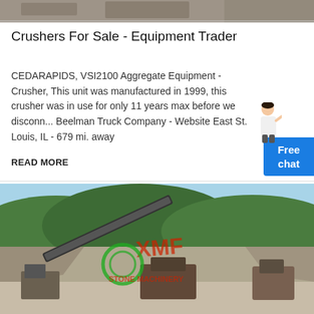[Figure (photo): Top partial image of crusher/mining equipment, cropped at top of page]
Crushers For Sale - Equipment Trader
CEDARAPIDS, VSI2100 Aggregate Equipment - Crusher, This unit was manufactured in 1999, this crusher was in use for only 11 years max before we disconn... Beelman Truck Company - Website East St. Louis, IL - 679 mi. away
READ MORE
[Figure (photo): Quarry site with crusher machinery, conveyor belts, rocky terrain and green hills in background. XMF logo watermark visible in red and green.]